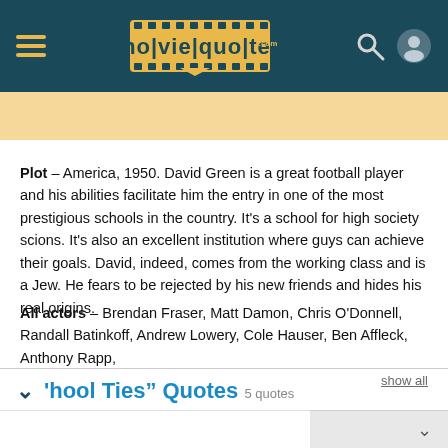moviequotes.com
Plot – America, 1950. David Green is a great football player and his abilities facilitate him the entry in one of the most prestigious schools in the country. It's a school for high society scions. It's also an excellent institution where guys can achieve their goals. David, indeed, comes from the working class and is a Jew. He fears to be rejected by his new friends and hides his real origins.
All actors – Brendan Fraser, Matt Damon, Chris O'Donnell, Randall Batinkoff, Andrew Lowery, Cole Hauser, Ben Affleck, Anthony Rapp,
"hool Ties" Quotes 5 quotes